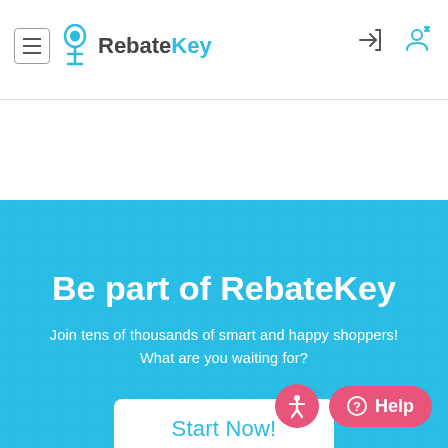[Figure (logo): RebateKey logo with hamburger menu icon, login and user icons in the header]
Be part of RebateKey
Join tens of thousands of smart and happy shoppers! What are you waiting for?
[Figure (other): Start Now! button on blue hero background]
[Figure (other): Accessibility icon button and Help button in bottom right corner]